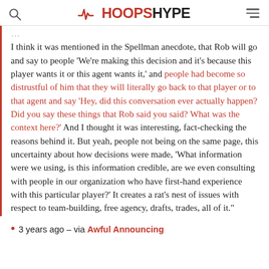HOOPSHYPE
I think it was mentioned in the Spellman anecdote, that Rob will go and say to people 'We're making this decision and it's because this player wants it or this agent wants it,' and people had become so distrustful of him that they will literally go back to that player or to that agent and say 'Hey, did this conversation ever actually happen? Did you say these things that Rob said you said? What was the context here?' And I thought it was interesting, fact-checking the reasons behind it. But yeah, people not being on the same page, this uncertainty about how decisions were made, 'What information were we using, is this information credible, are we even consulting with people in our organization who have first-hand experience with this particular player?' It creates a rat's nest of issues with respect to team-building, free agency, drafts, trades, all of it."
3 years ago – via Awful Announcing